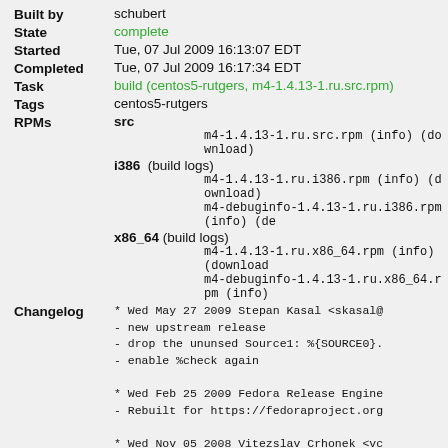Built by: schubert
State: complete
Started: Tue, 07 Jul 2009 16:13:07 EDT
Completed: Tue, 07 Jul 2009 16:17:34 EDT
Task: build (centos5-rutgers, m4-1.4.13-1.ru.src.rpm)
Tags: centos5-rutgers
RPMs: src
m4-1.4.13-1.ru.src.rpm (info) (download)
i386 (build logs)
m4-1.4.13-1.ru.i386.rpm (info) (download)
m4-debuginfo-1.4.13-1.ru.i386.rpm (info) (de...
x86_64 (build logs)
m4-1.4.13-1.ru.x86_64.rpm (info) (download...
m4-debuginfo-1.4.13-1.ru.x86_64.rpm (info)
Changelog:
* Wed May 27 2009 Stepan Kasal <skasal@...
- new upstream release
- drop the ununsed Source1: %{SOURCE0}.
- enable %check again

* Wed Feb 25 2009 Fedora Release Engine...
- Rebuilt for https://fedoraproject.org...

* Wed Nov 05 2008 Vitezslav Crhonek <vc...
Update to m4-1.4.12...